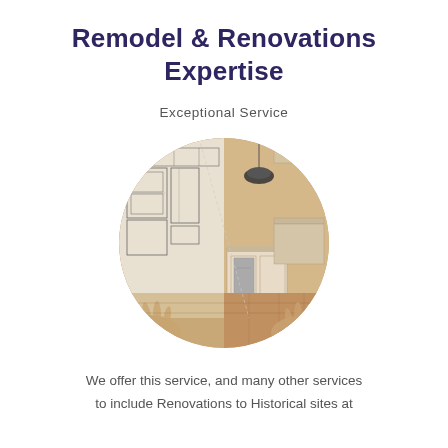Remodel & Renovations Expertise
Exceptional Service
[Figure (photo): Circular photo showing a kitchen remodel scene: left half is a pencil sketch/blueprint of a kitchen, right half is the finished renovated kitchen with an island, hardwood floors, and pendant lighting. Hands are cupped beneath the image.]
We offer this service, and many other services to include Renovations to Historical sites at